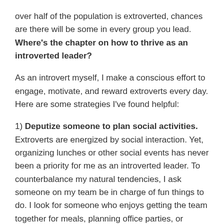over half of the population is extroverted, chances are there will be some in every group you lead. Where's the chapter on how to thrive as an introverted leader?
As an introvert myself, I make a conscious effort to engage, motivate, and reward extroverts every day. Here are some strategies I've found helpful:
1) Deputize someone to plan social activities. Extroverts are energized by social interaction. Yet, organizing lunches or other social events has never been a priority for me as an introverted leader. To counterbalance my natural tendencies, I ask someone on my team be in charge of fun things to do. I look for someone who enjoys getting the team together for meals, planning office parties, or organizing other events that involve hanging around with team members. I give them a goal (e.g., an activity every month), and a